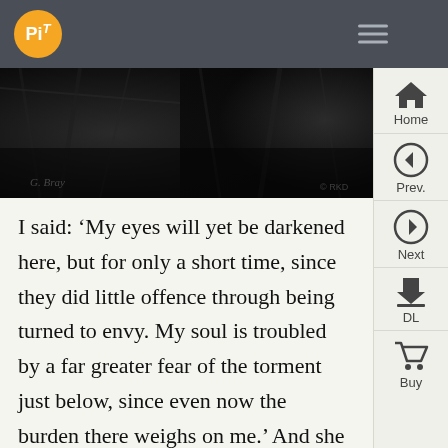PiT
[Figure (photo): Black and white photograph of a dark, textured forest or rocky surface, appearing moody and atmospheric. Appears to have a signature or watermark in the lower left corner.]
I said: ‘My eyes will yet be darkened here, but for only a short time, since they did little offence through being turned to envy. My soul is troubled by a far greater fear of the torment just below, since even now the burden there weighs on me.’ And she to me: ‘Who has led you then, up here, among us, if you expect to return below?’ And I: ‘He who is with me, here, and is silent: and I am alive, and so, spirit elect, ask something of me, if